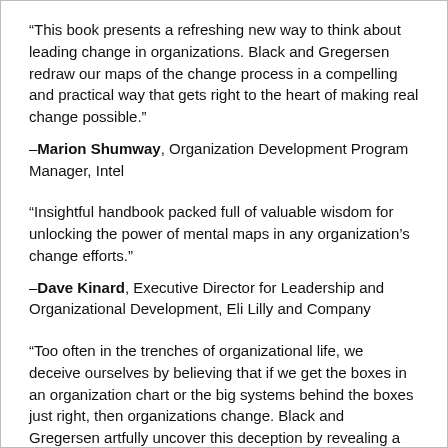“This book presents a refreshing new way to think about leading change in organizations. Black and Gregersen redraw our maps of the change process in a compelling and practical way that gets right to the heart of making real change possible.”
–Marion Shumway, Organization Development Program Manager, Intel
“Insightful handbook packed full of valuable wisdom for unlocking the power of mental maps in any organization’s change efforts.”
–Dave Kinard, Executive Director for Leadership and Organizational Development, Eli Lilly and Company
“Too often in the trenches of organizational life, we deceive ourselves by believing that if we get the boxes in an organization chart or the big systems behind the boxes just right, then organizations change. Black and Gregersen artfully uncover this deception by revealing a new, eye-opening approach to change that can help any leader of change become much stronger and better at it.”
–Mark Hamberlin, Director, Human Resources European Markets Cisco Systems Inc.
Today, virtually every organization faces massive change.